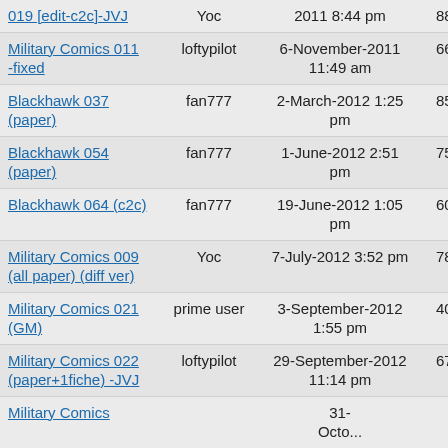| Title | User | Date | Views | Replies |
| --- | --- | --- | --- | --- |
| 019 [edit-c2c]-JVJ | Yoc | 2011 8:44 pm | 887 | 0 |
| Military Comics 011 -fixed | loftypilot | 6-November-2011 11:49 am | 666 | 0 |
| Blackhawk 037 (paper) | fan777 | 2-March-2012 1:25 pm | 853 | 0 |
| Blackhawk 054 (paper) | fan777 | 1-June-2012 2:51 pm | 758 | 0 |
| Blackhawk 064 (c2c) | fan777 | 19-June-2012 1:05 pm | 607 | 0 |
| Military Comics 009 (all paper) (diff ver) | Yoc | 7-July-2012 3:52 pm | 788 | 0 |
| Military Comics 021 (GM) | prime user | 3-September-2012 1:55 pm | 409 | 0 |
| Military Comics 022 (paper+1fiche) -JVJ | loftypilot | 29-September-2012 11:14 pm | 674 | 0 |
| Military Comics 010 (diff ver) | ... | 31-October-... | ... | 0 |